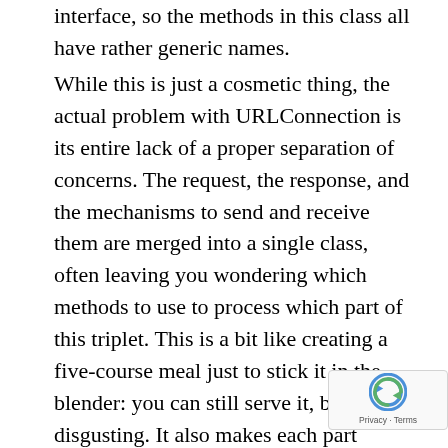interface, so the methods in this class all have rather generic names.
While this is just a cosmetic thing, the actual problem with URLConnection is its entire lack of a proper separation of concerns. The request, the response, and the mechanisms to send and receive them are merged into a single class, often leaving you wondering which methods to use to process which part of this triplet. This is a bit like creating a five-course meal just to stick it in the blender: you can still serve it, but it's just disgusting. It also makes each part difficult to customize and even more difficult to mock out when writing unit tests. It's simply not a beaming